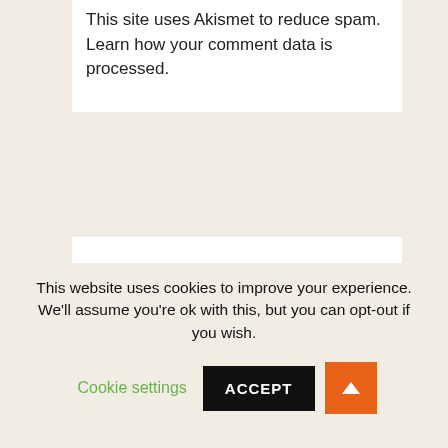This site uses Akismet to reduce spam. Learn how your comment data is processed.
This website uses cookies to improve your experience. We'll assume you're ok with this, but you can opt-out if you wish. Cookie settings ACCEPT